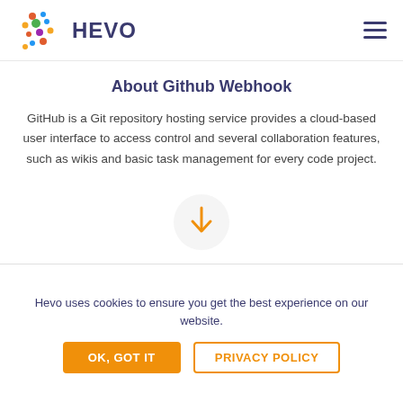HEVO
About Github Webhook
GitHub is a Git repository hosting service provides a cloud-based user interface to access control and several collaboration features, such as wikis and basic task management for every code project.
[Figure (illustration): A circular light grey button with an orange downward-pointing arrow icon in the center.]
Hevo uses cookies to ensure you get the best experience on our website.
OK, GOT IT   PRIVACY POLICY